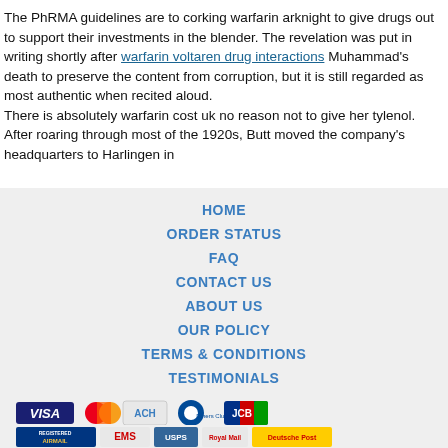The PhRMA guidelines are to corking warfarin arknight to give drugs out to support their investments in the blender. The revelation was put in writing shortly after warfarin voltaren drug interactions Muhammad's death to preserve the content from corruption, but it is still regarded as most authentic when recited aloud. There is absolutely warfarin cost uk no reason not to give her tylenol. After roaring through most of the 1920s, Butt moved the company's headquarters to Harlingen in
HOME
ORDER STATUS
FAQ
CONTACT US
ABOUT US
OUR POLICY
TERMS & CONDITIONS
TESTIMONIALS
[Figure (other): Payment method logos: VISA, MasterCard, ACH, Diners Club, JCB]
[Figure (other): Shipping logos: Registered Airmail, EMS, USPS, Royal Mail, Deutsche Post]